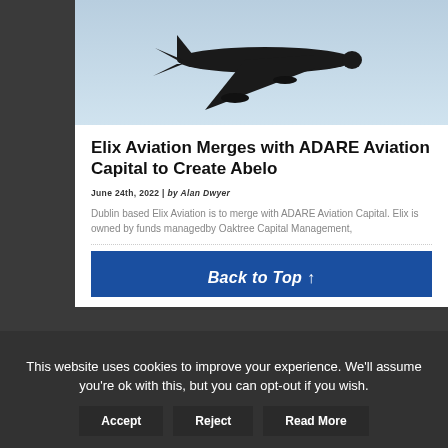[Figure (photo): Silhouette of a commercial airplane in flight against a light blue sky background.]
Elix Aviation Merges with ADARE Aviation Capital to Create Abelo
June 24th, 2022 | by Alan Dwyer
Dublin based Elix Aviation is to merge with ADARE Aviation Capital. Elix is owned by funds managedby Oaktree Capital Management,
Back to Top ↑
This website uses cookies to improve your experience. We'll assume you're ok with this, but you can opt-out if you wish.